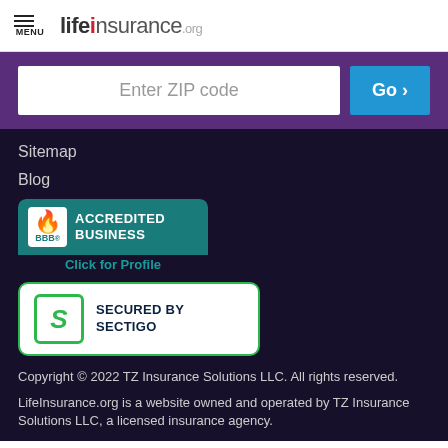MENU lifeinsurance.org
Enter ZIP code  Go >
Sitemap
Blog
[Figure (logo): BBB Accredited Business badge with teal background and Click for Profile link]
[Figure (logo): Secured by Sectigo badge with green border on white background]
Copyright © 2022 TZ Insurance Solutions LLC. All rights reserved.
LifeInsurance.org is a website owned and operated by TZ Insurance Solutions LLC, a licensed insurance agency.